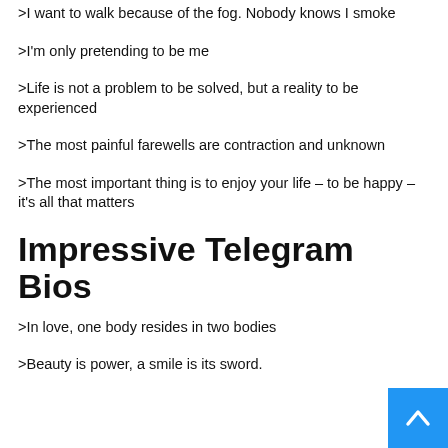>I want to walk because of the fog. Nobody knows I smoke
>I'm only pretending to be me
>Life is not a problem to be solved, but a reality to be experienced
>The most painful farewells are contraction and unknown
>The most important thing is to enjoy your life – to be happy – it's all that matters
Impressive Telegram Bios
>In love, one body resides in two bodies
>Beauty is power, a smile is its sword.